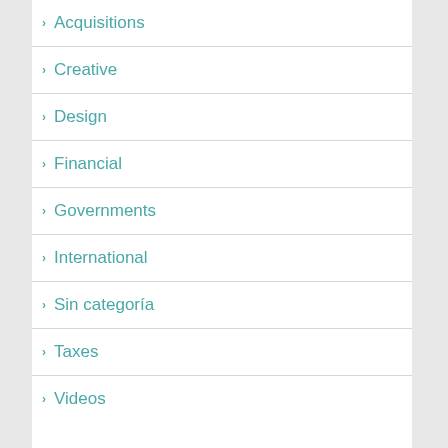Acquisitions
Creative
Design
Financial
Governments
International
Sin categoría
Taxes
Videos